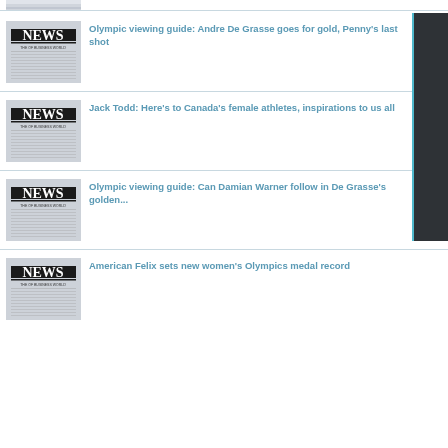[Figure (photo): Partial newspaper thumbnail at top of page (cropped)]
Olympic viewing guide: Andre De Grasse goes for gold, Penny's last shot
Jack Todd: Here's to Canada's female athletes, inspirations to us all
Olympic viewing guide: Can Damian Warner follow in De Grasse's golden...
American Felix sets new women's Olympics medal record